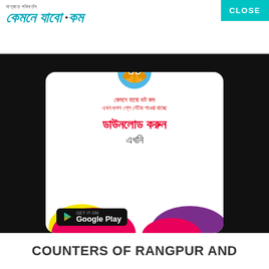[Figure (logo): Kemene Jabo dot com logo with Bengali script text above and stylized Bengali/italic main logo text, with a CLOSE button in teal on the top right]
[Figure (screenshot): App promotion screenshot on black background showing a white card with Bengali text 'Kemene Jabo dot com', 'now available on Google Play', large red Bengali text 'Download Now', colorful yellow/pink/purple wave blobs at bottom, and a Google Play badge]
COUNTERS OF RANGPUR AND